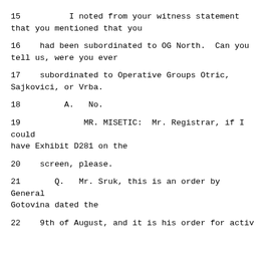15         I noted from your witness statement that you mentioned that you
16    had been subordinated to OG North.  Can you tell us, were you ever
17    subordinated to Operative Groups Otric, Sajkovici, or Vrba.
18         A.   No.
19             MR. MISETIC:  Mr. Registrar, if I could have Exhibit D281 on the
20    screen, please.
21       Q.   Mr. Sruk, this is an order by General Gotovina dated the
22    9th of August, and it is his order for activ...